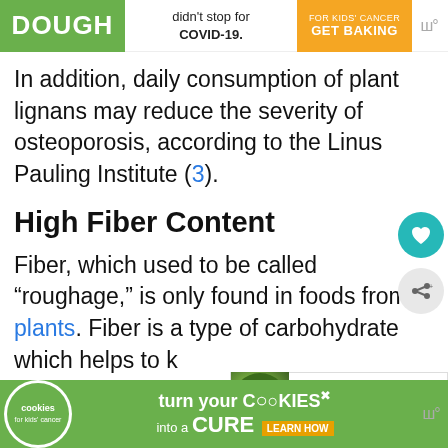[Figure (screenshot): Advertisement banner showing 'DOUGH' in green background on the left, middle text 'didn't stop for COVID-19.', and orange 'GET BAKING' button on right with kids cancer charity branding]
In addition, daily consumption of plant lignans may reduce the severity of osteoporosis, according to the Linus Pauling Institute (3).
High Fiber Content
Fiber, which used to be called “roughage,” is only found in foods from plants. Fiber is a type of carbohydrate which helps to k... digestive systems healthy.
[Figure (screenshot): Advertisement banner at the bottom: cookies for kids cancer - turn your COOKIES into a CURE LEARN HOW]
[Figure (screenshot): What's Next panel showing avocado image with text 'Avocado - Side Effects,...']